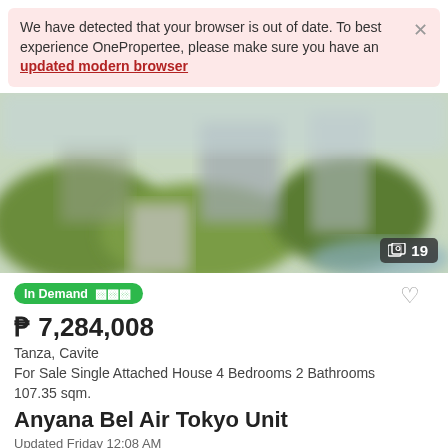We have detected that your browser is out of date. To best experience OnePropertee, please make sure you have an updated modern browser
[Figure (photo): Blurred exterior photo of a residential property with green foliage and a path, showing 19 images available]
In Demand
₱ 7,284,008
Tanza, Cavite
For Sale Single Attached House 4 Bedrooms 2 Bathrooms 107.35 sqm.
Anyana Bel Air Tokyo Unit
Updated Friday 12:08 AM
Contact seller